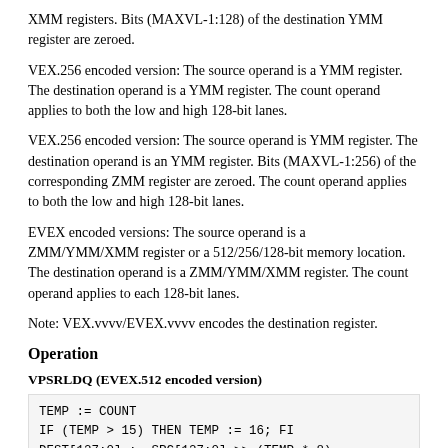XMM registers. Bits (MAXVL-1:128) of the destination YMM register are zeroed.
VEX.256 encoded version: The source operand is a YMM register. The destination operand is a YMM register. The count operand applies to both the low and high 128-bit lanes.
VEX.256 encoded version: The source operand is YMM register. The destination operand is an YMM register. Bits (MAXVL-1:256) of the corresponding ZMM register are zeroed. The count operand applies to both the low and high 128-bit lanes.
EVEX encoded versions: The source operand is a ZMM/YMM/XMM register or a 512/256/128-bit memory location. The destination operand is a ZMM/YMM/XMM register. The count operand applies to each 128-bit lanes.
Note: VEX.vvvv/EVEX.vvvv encodes the destination register.
Operation
VPSRLDQ (EVEX.512 encoded version)
TEMP := COUNT
IF (TEMP > 15) THEN TEMP := 16; FI
DEST[127:0] := SRC[127:0] >> (TEMP * 8)
DEST[255:128] := SRC[255:128] >> (TEMP * 8)